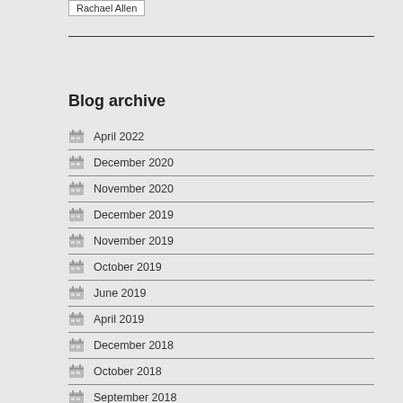Rachael Allen
Blog archive
April 2022
December 2020
November 2020
December 2019
November 2019
October 2019
June 2019
April 2019
December 2018
October 2018
September 2018